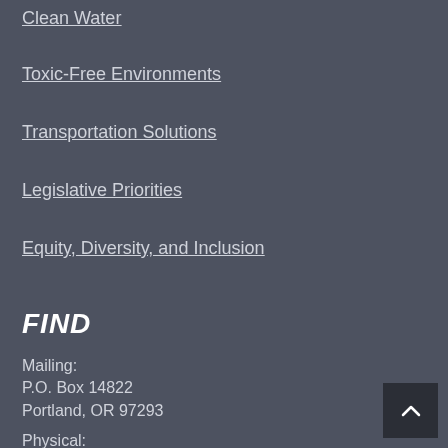Clean Water
Toxic-Free Environments
Transportation Solutions
Legislative Priorities
Equity, Diversity, and Inclusion
FIND
Mailing:
P.O. Box 14822
Portland, OR 97293
Physical: